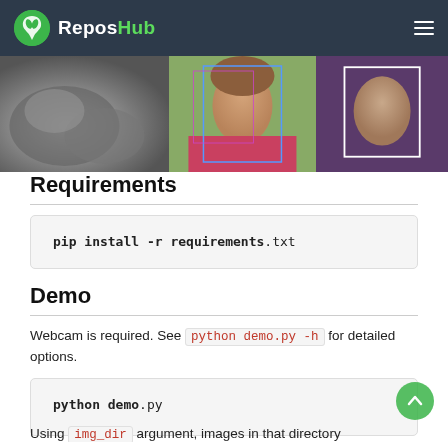ReposHub
[Figure (photo): Three-panel image strip: left panel shows a black-and-white photo of animals (dogs/cats), center panel shows a woman's face with blue face-detection bounding boxes, right panel shows an older person's face with a white bounding box.]
Requirements
Demo
Webcam is required. See python demo.py -h for detailed options.
Using img_dir argument, images in that directory